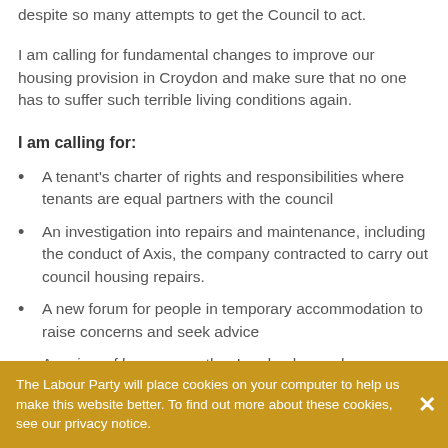despite so many attempts to get the Council to act.
I am calling for fundamental changes to improve our housing provision in Croydon and make sure that no one has to suffer such terrible living conditions again.
I am calling for:
A tenant's charter of rights and responsibilities where tenants are equal partners with the council
An investigation into repairs and maintenance, including the conduct of Axis, the company contracted to carry out council housing repairs.
A new forum for people in temporary accommodation to raise concerns and seek advice
A review of how many other London boroughs are
The Labour Party will place cookies on your computer to help us make this website better. To find out more about these cookies, see our privacy notice.